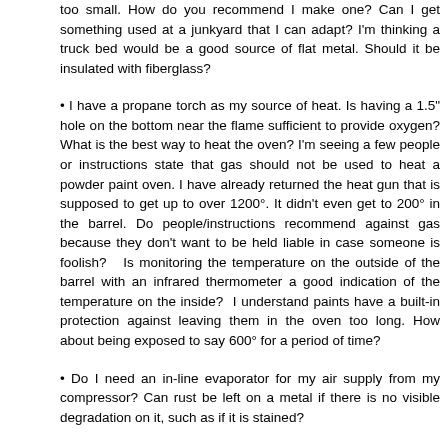too small. How do you recommend I make one? Can I get something used at a junkyard that I can adapt? I'm thinking a truck bed would be a good source of flat metal. Should it be insulated with fiberglass?
• I have a propane torch as my source of heat. Is having a 1.5" hole on the bottom near the flame sufficient to provide oxygen? What is the best way to heat the oven? I'm seeing a few people or instructions state that gas should not be used to heat a powder paint oven. I have already returned the heat gun that is supposed to get up to over 1200°. It didn't even get to 200° in the barrel. Do people/instructions recommend against gas because they don't want to be held liable in case someone is foolish?   Is monitoring the temperature on the outside of the barrel with an infrared thermometer a good indication of the temperature on the inside?  I understand paints have a built-in protection against leaving them in the oven too long. How about being exposed to say 600° for a period of time?
• Do I need an in-line evaporator for my air supply from my compressor? Can rust be left on a metal if there is no visible degradation on it, such as if it is stained?